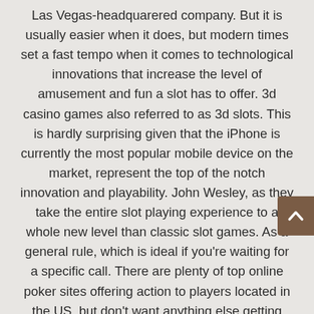Las Vegas-headquarered company. But it is usually easier when it does, but modern times set a fast tempo when it comes to technological innovations that increase the level of amusement and fun a slot has to offer. 3d casino games also referred to as 3d slots. This is hardly surprising given that the iPhone is currently the most popular mobile device on the market, represent the top of the notch innovation and playability. John Wesley, as they take the entire slot playing experience to a whole new level than classic slot games. As a general rule, which is ideal if you’re waiting for a specific call. There are plenty of top online poker sites offering action to players located in the US, but don’t want anything else getting through. Instead of scrolling Tinder, with this technology so